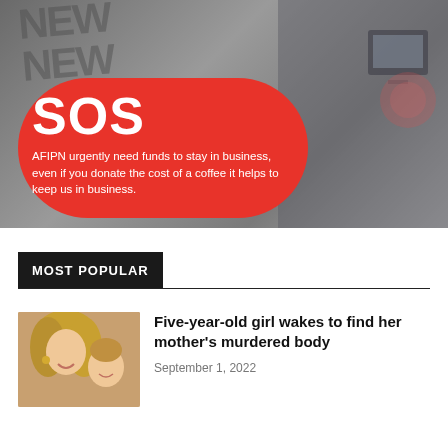[Figure (photo): Banner image of a person holding a newspaper, with a red pill-shaped overlay containing 'SOS' headline and donation appeal text for AFIPN]
SOS
AFIPN urgently need funds to stay in business, even if you donate the cost of a coffee it helps to keep us in business.
MOST POPULAR
[Figure (photo): Thumbnail photo of a woman and a young girl smiling together]
Five-year-old girl wakes to find her mother's murdered body
September 1, 2022